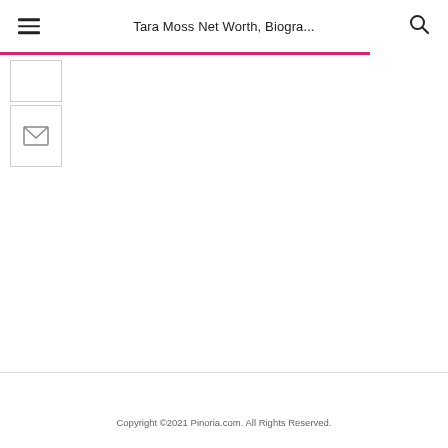Tara Moss Net Worth, Biogra...
[Figure (screenshot): Social sharing buttons: a small blank box and an email/envelope icon box on the left side]
Copyright ©2021 Pinoria.com. All Rights Reserved.